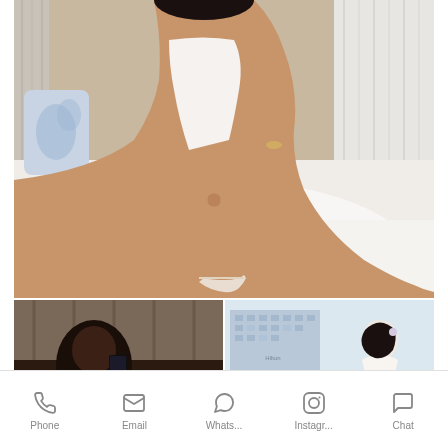[Figure (photo): Main photo showing a person in white lingerie and heels sitting on a white bed with a blue-patterned pillow and curtains in background]
[Figure (photo): Thumbnail photo on left showing a person taking a selfie in a dim room with curtains]
[Figure (photo): Thumbnail photo on right showing a person in white off-shoulder dress with city building in background and a purple chevron/up-arrow icon]
Phone   Email   Whats...   Instagr...   Chat